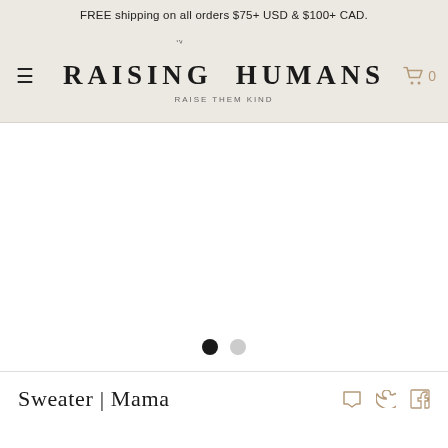FREE shipping on all orders $75+ USD & $100+ CAD.
[Figure (logo): Raising Humans logo with 'SINCE 20|80' arc above and 'RAISE THEM KIND' tagline below, with hamburger menu icon on left and cart icon (0) on right]
[Figure (photo): Product image area (blank/white) with two pagination dots below — one filled black, one gray]
Sweater | Mama